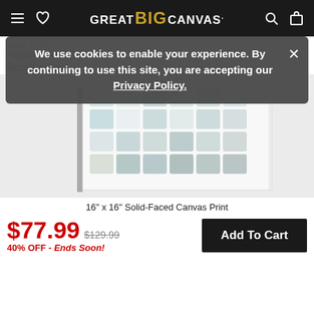GREAT BIG CANVAS. (navigation bar with hamburger menu, heart/wishlist icon, logo, search and cart icons)
We use cookies to enable your experience. By continuing to use this site, you are accepting our Privacy Policy.
Home > ... > Aquatic Grid I Wall Art by Emma Caroline
[Figure (photo): Aquatic Grid I wall art canvas print showing a watercolor grid of soft blue, teal, gray, and beige squares on a white background. The print is shown mounted on a canvas with a visible side edge.]
16" x 16" Solid-Faced Canvas Print
$77.99  $129.99  40% OFF - Ends Soon!
Add To Cart